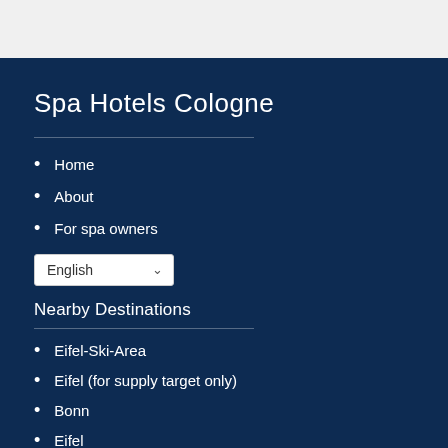Spa Hotels Cologne
Home
About
For spa owners
English
Nearby Destinations
Eifel-Ski-Area
Eifel (for supply target only)
Bonn
Eifel
Cologne